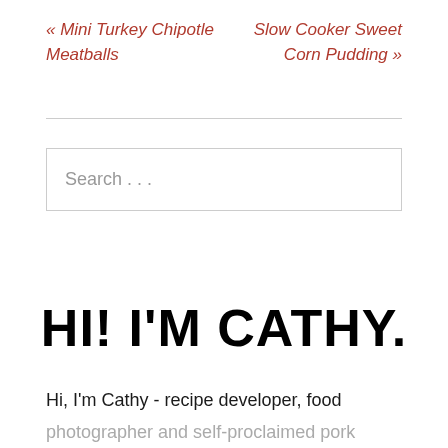« Mini Turkey Chipotle Meatballs
Slow Cooker Sweet Corn Pudding »
Search . . .
HI! I'M CATHY.
Hi, I'm Cathy - recipe developer, food photographer and self-proclaimed pork